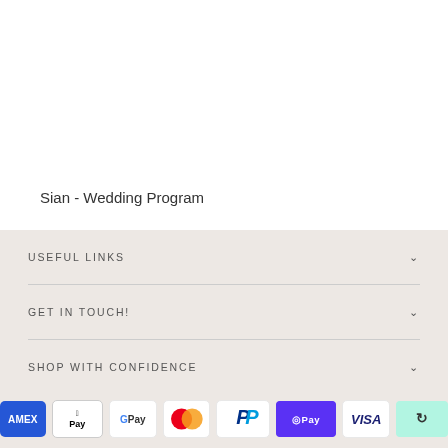Sian - Wedding Program
USEFUL LINKS
GET IN TOUCH!
SHOP WITH CONFIDENCE
[Figure (other): Payment method icons: American Express, Apple Pay, Google Pay, Mastercard, PayPal, Shop Pay, Visa, Afterpay]